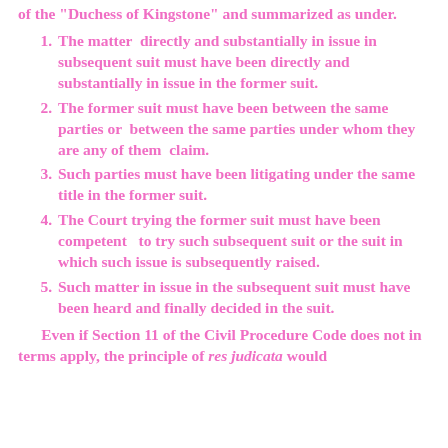of the "Duchess of Kingstone" and summarized as under.
The matter directly and substantially in issue in subsequent suit must have been directly and substantially in issue in the former suit.
The former suit must have been between the same parties or between the same parties under whom they are any of them claim.
Such parties must have been litigating under the same title in the former suit.
The Court trying the former suit must have been competent to try such subsequent suit or the suit in which such issue is subsequently raised.
Such matter in issue in the subsequent suit must have been heard and finally decided in the suit.
Even if Section 11 of the Civil Procedure Code does not in terms apply, the principle of res judicata would